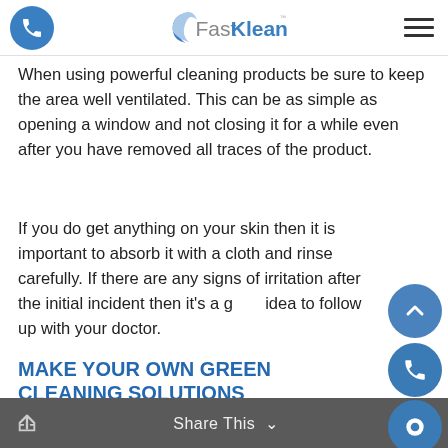FastKlean
When using powerful cleaning products be sure to keep the area well ventilated. This can be as simple as opening a window and not closing it for a while even after you have removed all traces of the product.
If you do get anything on your skin then it is important to absorb it with a cloth and rinse carefully. If there are any signs of irritation after the initial incident then it's a good idea to follow up with your doctor.
MAKE YOUR OWN GREEN CLEANING SOLUTIONS
[Figure (photo): Photo of cleaning supplies including a lemon slice, a green bottle cap, and a green scrubbing brush on a light surface]
Share This